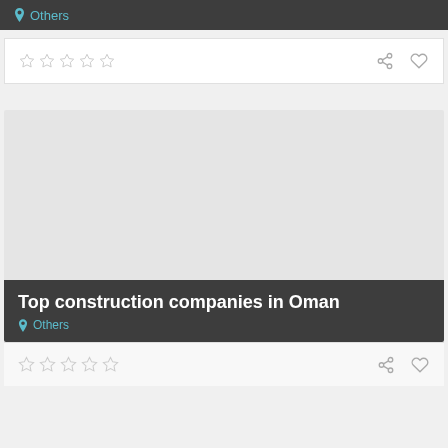[Figure (screenshot): Dark header bar showing location tag 'Others' in teal color]
[Figure (screenshot): Rating bar with 5 empty stars and share/favorite icons]
[Figure (screenshot): Gray image placeholder area for a card]
Top construction companies in Oman
Others
[Figure (screenshot): Rating bar with 5 empty stars and share/favorite icons at bottom]